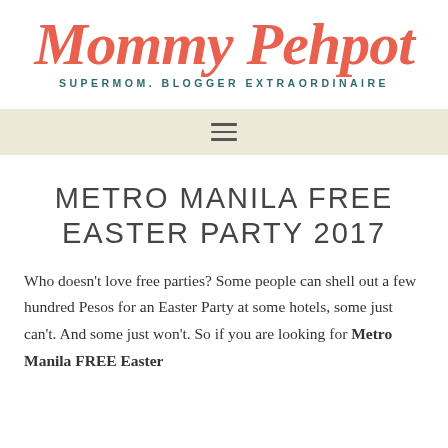Mommy Pehpot
SUPERMOM. BLOGGER EXTRAORDINAIRE
METRO MANILA FREE EASTER PARTY 2017
Who doesn't love free parties? Some people can shell out a few hundred Pesos for an Easter Party at some hotels, some just can't. And some just won't. So if you are looking for Metro Manila FREE Easter